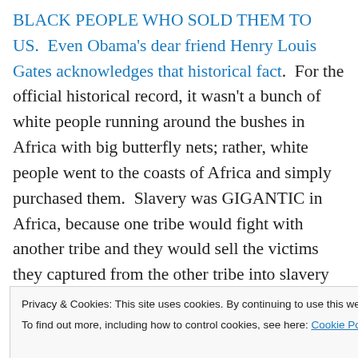BLACK PEOPLE WHO SOLD THEM TO US.  Even Obama's dear friend Henry Louis Gates acknowledges that historical fact.  For the official historical record, it wasn't a bunch of white people running around the bushes in Africa with big butterfly nets; rather, white people went to the coasts of Africa and simply purchased them.  Slavery was GIGANTIC in Africa, because one tribe would fight with another tribe and they would sell the victims they captured from the other tribe into slavery without a hinge of regret.  They were reducing the population of their enemies and earning a tidy profit at the same time.  We
Privacy & Cookies: This site uses cookies. By continuing to use this website, you agree to their use.
To find out more, including how to control cookies, see here: Cookie Policy
Close and accept